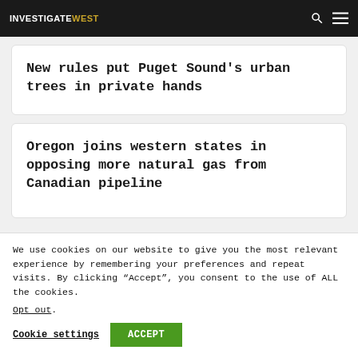INVESTIGATEWEST
New rules put Puget Sound's urban trees in private hands
Oregon joins western states in opposing more natural gas from Canadian pipeline
We use cookies on our website to give you the most relevant experience by remembering your preferences and repeat visits. By clicking “Accept”, you consent to the use of ALL the cookies. Opt out.
Cookie settings   ACCEPT